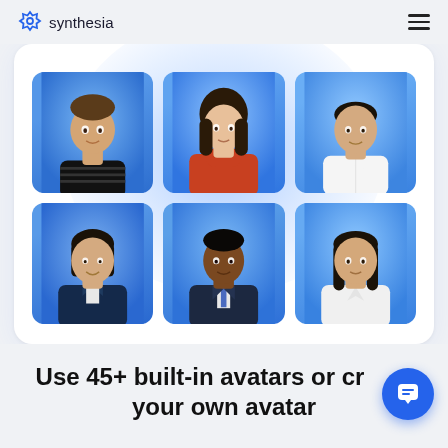synthesia
[Figure (screenshot): A UI panel showing a 3x2 grid of avatar portraits on a blue-gradient background inside a white rounded card. Six diverse human avatars are displayed: top row shows a young man in striped shirt, a woman in red turtleneck, and an Asian man in white shirt; bottom row shows an Asian woman in dark jacket, a Black man in suit, and a woman in white blouse.]
Use 45+ built-in avatars or create your own avatar